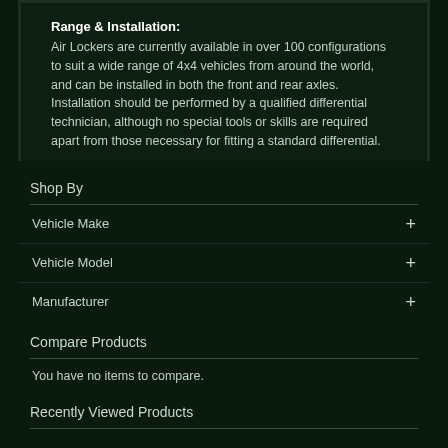Range & Installation:
Air Lockers are currently available in over 100 configurations to suit a wide range of 4x4 vehicles from around the world, and can be installed in both the front and rear axles. Installation should be performed by a qualified differential technician, although no special tools or skills are required apart from those necessary for fitting a standard differential.
Shop By
Vehicle Make
Vehicle Model
Manufacturer
Compare Products
You have no items to compare.
Recently Viewed Products